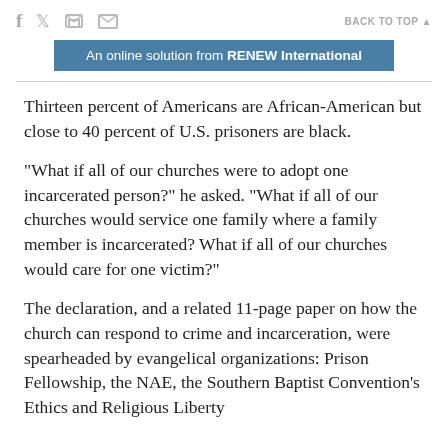f  [twitter]  [print]  [email]    BACK TO TOP ▲
[Figure (other): Banner image with blue background reading: An online solution from RENEW International]
Thirteen percent of Americans are African-American but close to 40 percent of U.S. prisoners are black.
"What if all of our churches were to adopt one incarcerated person?" he asked. "What if all of our churches would service one family where a family member is incarcerated? What if all of our churches would care for one victim?"
The declaration, and a related 11-page paper on how the church can respond to crime and incarceration, were spearheaded by evangelical organizations: Prison Fellowship, the NAE, the Southern Baptist Convention's Ethics and Religious Liberty